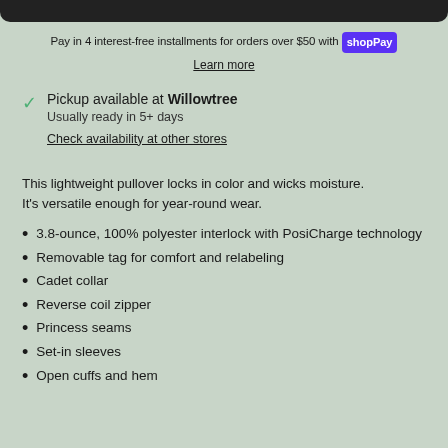[Figure (other): Dark rounded navigation bar at top]
Pay in 4 interest-free installments for orders over $50 with shopPay
Learn more
Pickup available at Willowtree
Usually ready in 5+ days
Check availability at other stores
This lightweight pullover locks in color and wicks moisture. It's versatile enough for year-round wear.
3.8-ounce, 100% polyester interlock with PosiCharge technology
Removable tag for comfort and relabeling
Cadet collar
Reverse coil zipper
Princess seams
Set-in sleeves
Open cuffs and hem